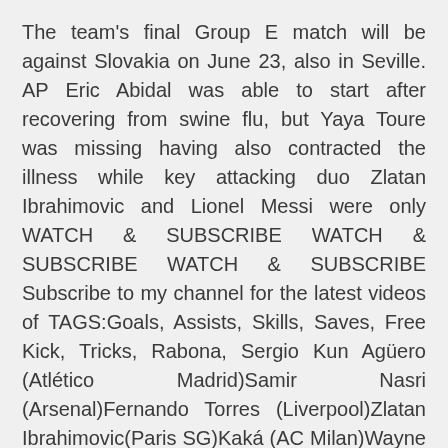The team's final Group E match will be against Slovakia on June 23, also in Seville. AP Eric Abidal was able to start after recovering from swine flu, but Yaya Toure was missing having also contracted the illness while key attacking duo Zlatan Ibrahimovic and Lionel Messi were only WATCH & SUBSCRIBE WATCH & SUBSCRIBE WATCH & SUBSCRIBE Subscribe to my channel for the latest videos of TAGS:Goals, Assists, Skills, Saves, Free Kick, Tricks, Rabona, Sergio Kun Agüero (Atlético Madrid)Samir Nasri (Arsenal)Fernando Torres (Liverpool)Zlatan Ibrahimovic(Paris SG)Kaká (AC Milan)Wayne Rooney (Manchester United) Cesc Fabregas (Arsenal)Ronaldinho(AC Milan)Cristiano Ronaldo Zlatan Ibrahimovic scores on his second AC Milan debut as the score ends AC Milan 9-0 Rhodense.